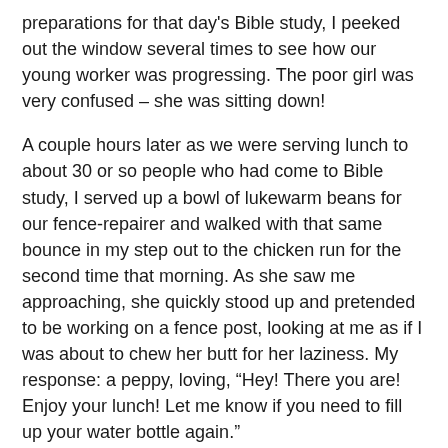preparations for that day's Bible study, I peeked out the window several times to see how our young worker was progressing. The poor girl was very confused – she was sitting down!
A couple hours later as we were serving lunch to about 30 or so people who had come to Bible study, I served up a bowl of lukewarm beans for our fence-repairer and walked with that same bounce in my step out to the chicken run for the second time that morning. As she saw me approaching, she quickly stood up and pretended to be working on a fence post, looking at me as if I was about to chew her butt for her laziness. My response: a peppy, loving, “Hey! There you are! Enjoy your lunch! Let me know if you need to fill up your water bottle again.”
I handed off the plastic bowl of beans, turned around, and left.
I think at that point she realized that going on strike wasn’t